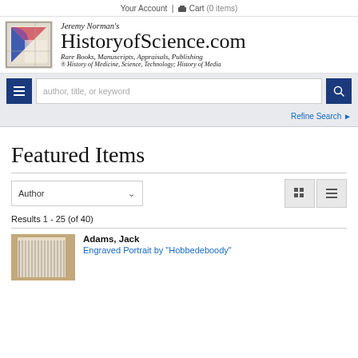Your Account | Cart (0 items)
[Figure (logo): Jeremy Norman's HistoryofScience.com logo with geometric design]
Jeremy Norman's HistoryofScience.com
Rare Books, Manuscripts, Appraisals, Publishing ® History of Medicine, Science, Technology; History of Media
[Figure (screenshot): Search bar with menu button, text input placeholder 'author, title, or keyword', and search button]
Refine Search
Featured Items
Results 1 - 25 (of 40)
Adams, Jack
Engraved Portrait by "Hobbedeboody"